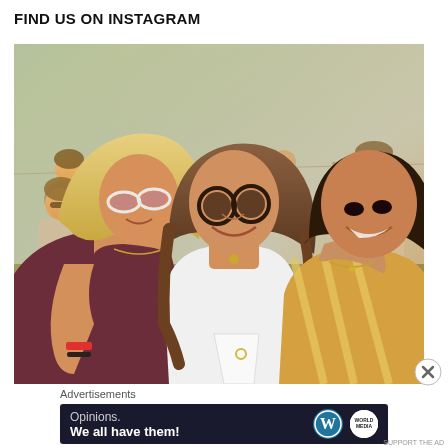FIND US ON INSTAGRAM
[Figure (photo): Three young women smiling and posing together outdoors at what appears to be an outdoor event or festival, sitting on grass. Other people are visible in the background. Warm golden hour lighting.]
Advertisements
[Figure (infographic): Dark navy advertisement banner reading 'Opinions. We all have them!' with WordPress logo and another circular logo on the right side.]